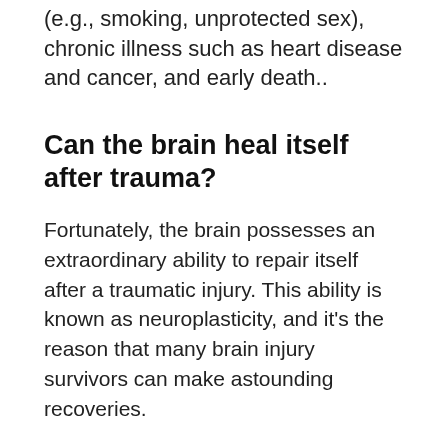(e.g., smoking, unprotected sex), chronic illness such as heart disease and cancer, and early death..
Can the brain heal itself after trauma?
Fortunately, the brain possesses an extraordinary ability to repair itself after a traumatic injury. This ability is known as neuroplasticity, and it's the reason that many brain injury survivors can make astounding recoveries.
What are three lasting effects of trauma on children's brains?